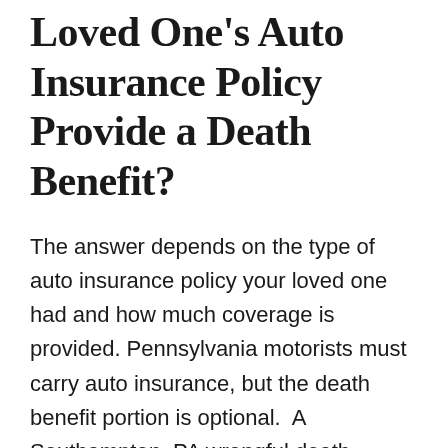Loved One's Auto Insurance Policy Provide a Death Benefit?
The answer depends on the type of auto insurance policy your loved one had and how much coverage is provided. Pennsylvania motorists must carry auto insurance, but the death benefit portion is optional.  A Southampton, PA wrongful death lawyer can help you understand the auto insurance coverage your loved one had in place after a car accident that